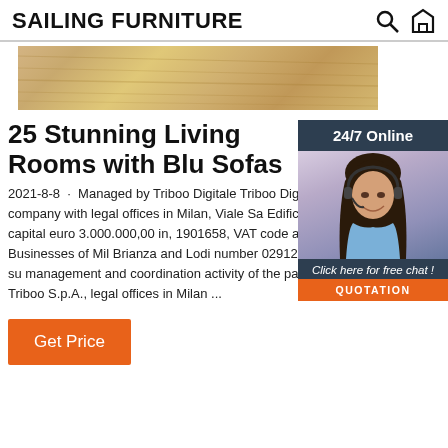SAILING FURNITURE
[Figure (photo): Wood texture banner image]
[Figure (photo): 24/7 Online chat agent - woman with headset smiling, with 'Click here for free chat!' and QUOTATION button overlay]
25 Stunning Living Rooms with Blu Sofas
2021-8-8 · Managed by Triboo Digitale Triboo Digita member company with legal offices in Milan, Viale Sa Edificio 16, Italy, shared capital euro 3.000.000,00 in, 1901658, VAT code and Registry of Businesses of Mil Brianza and Lodi number 02912880966 - company su management and coordination activity of the parent company Triboo S.p.A., legal offices in Milan ...
Get Price